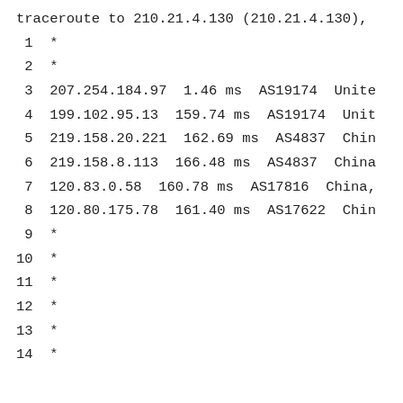traceroute to 210.21.4.130 (210.21.4.130),
 1  *
 2  *
 3  207.254.184.97  1.46 ms  AS19174  Unite
 4  199.102.95.13  159.74 ms  AS19174  Unit
 5  219.158.20.221  162.69 ms  AS4837  Chin
 6  219.158.8.113  166.48 ms  AS4837  China
 7  120.83.0.58  160.78 ms  AS17816  China,
 8  120.80.175.78  161.40 ms  AS17622  Chin
 9  *
10  *
11  *
12  *
13  *
14  *